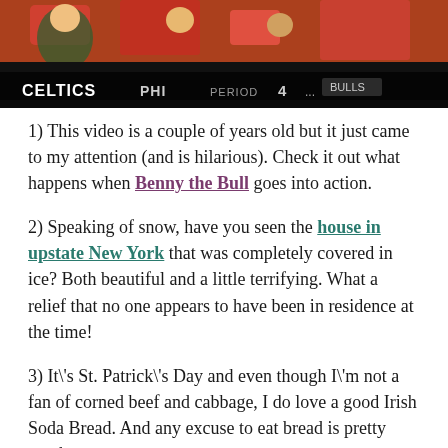[Figure (screenshot): Screenshot of a basketball game broadcast showing fans in the stands and a scoreboard bar at the bottom reading CELTICS, PHI, PERIOD 4, and other score info.]
1) This video is a couple of years old but it just came to my attention (and is hilarious). Check it out what happens when Benny the Bull goes into action.
2) Speaking of snow, have you seen the house in upstate New York that was completely covered in ice? Both beautiful and a little terrifying. What a relief that no one appears to have been in residence at the time!
3) It\'s St. Patrick\'s Day and even though I\'m not a fan of corned beef and cabbage, I do love a good Irish Soda Bread. And any excuse to eat bread is pretty much a